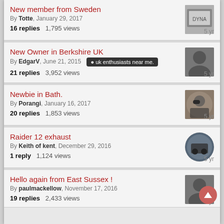New member from Sweden
By Totte, January 29, 2017
16 replies   1,795 views
5 yr
New Owner in Berkshire UK
By EdgarV, June 21, 2015  • uk enthusiasts near me.
21 replies   3,952 views
5 yr
Newbie in Bath.
By Porangi, January 16, 2017
20 replies   1,853 views
5 yr
Raider 12 exhaust
By Keith of kent, December 29, 2016
1 reply   1,124 views
5 yr
Hello again from East Sussex !
By paulmackellow, November 17, 2016
19 replies   2,433 views
5 yr